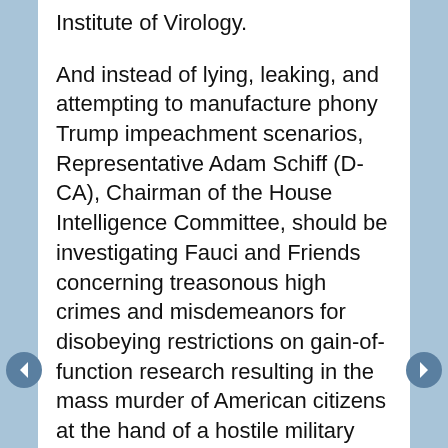Institute of Virology.
And instead of lying, leaking, and attempting to manufacture phony Trump impeachment scenarios, Representative Adam Schiff (D-CA), Chairman of the House Intelligence Committee, should be investigating Fauci and Friends concerning treasonous high crimes and misdemeanors for disobeying restrictions on gain-of-function research resulting in the mass murder of American citizens at the hand of a hostile military power.
We are so screwed when we cannot trust our elected leaders and unelected bureaucrat-experts to put aside self-interests and political power ploys and act in the best